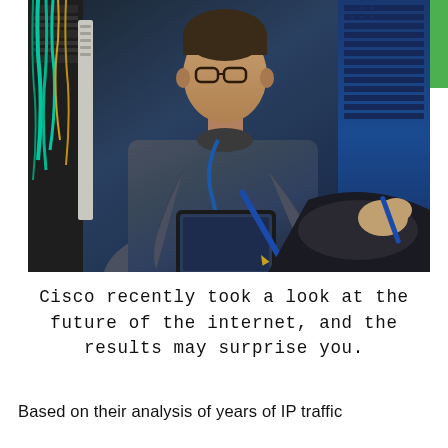[Figure (photo): A man wearing glasses and a grey long-sleeve shirt holding a tablet device in a server room/data center, with network cables and blue server racks visible in the background. Another person's hand is partially visible in the foreground.]
Cisco recently took a look at the future of the internet, and the results may surprise you.
Based on their analysis of years of IP traffic data, they recently published Cisco's annual...